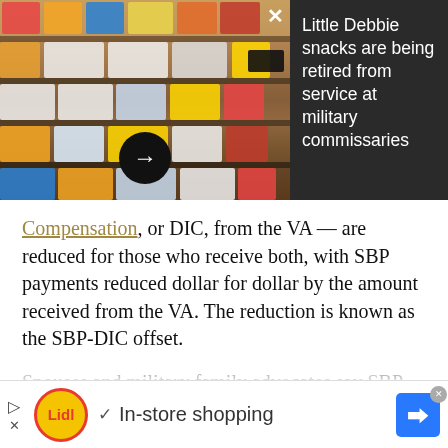[Figure (photo): Photo of grocery store shelves stocked with Little Debbie snack products, alongside a dark overlay panel with headline text and a navigation arrow button. A close (X) button is visible on the image.]
Compensation, or DIC, from the VA — are reduced for those who receive both, with SBP payments reduced dollar for dollar by the amount received from the VA. The reduction is known as the SBP-DIC offset.
Spouses and military family advocates say SBP, which is elective coverage paid by the service member, is similar to an insurance annuity and should be paid out...
[Figure (other): Lidl advertisement banner at bottom of page showing Lidl logo, checkmark, and 'In-store shopping' text with navigation icon.]